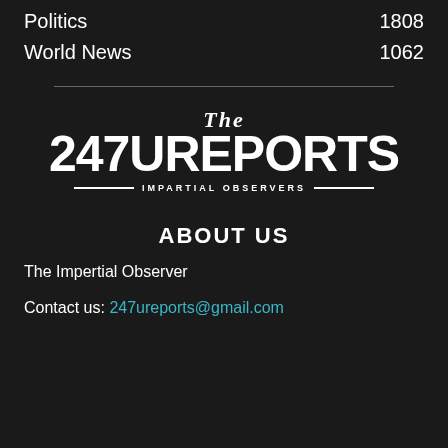Politics  1808
World News  1062
[Figure (logo): 247Ureports logo — 'The 247UREPORTS IMPARTIAL OBSERVERS' in blackletter/gothic and bold sans-serif on dark background]
ABOUT US
The Impertial Observer
Contact us: 247ureports@gmail.com